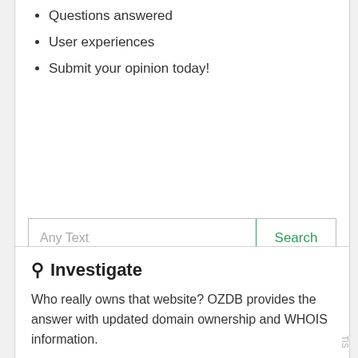Questions answered
User experiences
Submit your opinion today!
[Figure (screenshot): Search input box with placeholder 'Any Text' and a green-bordered 'Search' button on the right]
Investigate
Who really owns that website? OZDB provides the answer with updated domain ownership and WHOIS information.